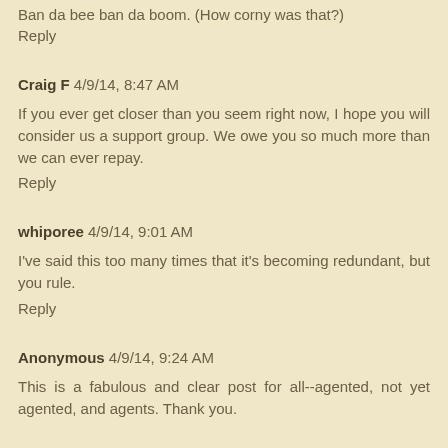Ban da bee ban da boom. (How corny was that?)
Reply
Craig F 4/9/14, 8:47 AM
If you ever get closer than you seem right now, I hope you will consider us a support group. We owe you so much more than we can ever repay.
Reply
whiporee 4/9/14, 9:01 AM
I've said this too many times that it's becoming redundant, but you rule.
Reply
Anonymous 4/9/14, 9:24 AM
This is a fabulous and clear post for all--agented, not yet agented, and agents. Thank you.